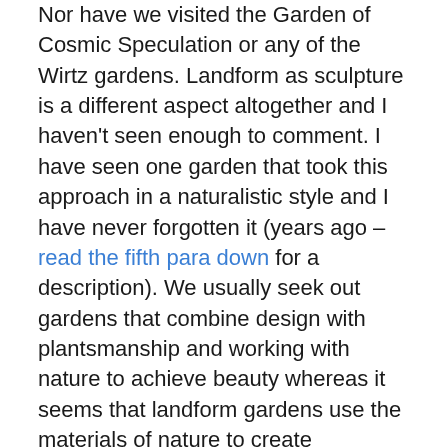Nor have we visited the Garden of Cosmic Speculation or any of the Wirtz gardens. Landform as sculpture is a different aspect altogether and I haven't seen enough to comment. I have seen one garden that took this approach in a naturalistic style and I have never forgotten it (years ago – read the fifth para down for a description). We usually seek out gardens that combine design with plantsmanship and working with nature to achieve beauty whereas it seems that landform gardens use the materials of nature to create sculptural form, often with minimal plant interest. When time is short, one has to set priorities in garden visiting.
Paloma is open by appointment and their website gives contact details. Grahame Dawson opens occasionally for the Heroic Festival in late summer but is not generally open. Le Jardin Plume and Wildside both have websites